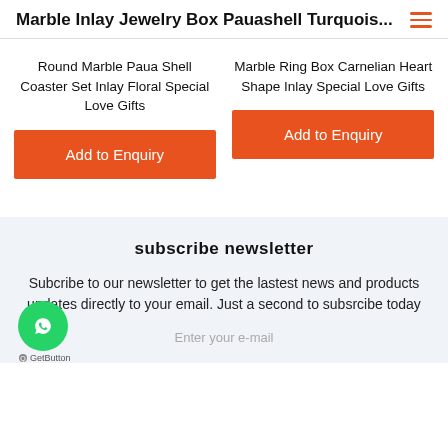Marble Inlay Jewelry Box Pauashell Turquois...
Round Marble Paua Shell Coaster Set Inlay Floral Special Love Gifts
Marble Ring Box Carnelian Heart Shape Inlay Special Love Gifts
Add to Enquiry
Add to Enquiry
subscribe newsletter
Subcribe to our newsletter to get the lastest news and products updates directly to your email. Just a second to subsrcibe today
Enter your e-mail